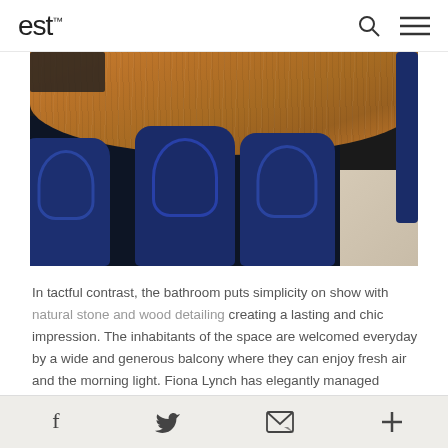est
[Figure (photo): Aerial view of a round wooden dining table with three navy blue chairs on a dark navy rug, with light wood flooring visible in the corner]
In tactful contrast, the bathroom puts simplicity on show with natural stone and wood detailing creating a lasting and chic impression. The inhabitants of the space are welcomed everyday by a wide and generous balcony where they can enjoy fresh air and the morning light. Fiona Lynch has elegantly managed to...
Social share icons: Facebook, Twitter, Email, Plus